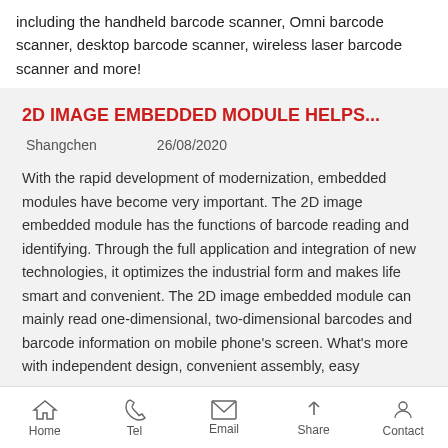including the handheld barcode scanner, Omni barcode scanner, desktop barcode scanner, wireless laser barcode scanner and more!
2D IMAGE EMBEDDED MODULE HELPS...
Shangchen   26/08/2020
With the rapid development of modernization, embedded modules have become very important. The 2D image embedded module has the functions of barcode reading and identifying. Through the full application and integration of new technologies, it optimizes the industrial form and makes life smart and convenient. The 2D image embedded module can mainly read one-dimensional, two-dimensional barcodes and barcode information on mobile phone's screen. What's more with independent design, convenient assembly, easy
Home   Tel   Email   Share   Contact